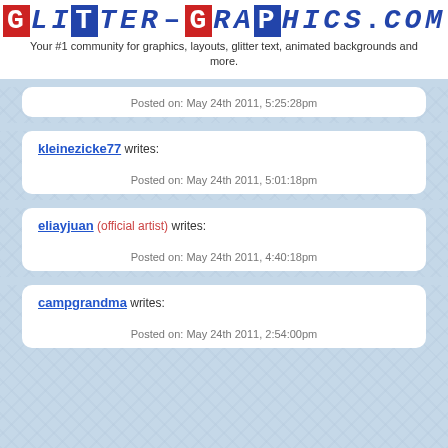GLITTER-GRAPHICS.COM
Your #1 community for graphics, layouts, glitter text, animated backgrounds and more.
Posted on: May 24th 2011, 5:25:28pm
kleinezicke77 writes:
Posted on: May 24th 2011, 5:01:18pm
eliayjuan (official artist) writes:
Posted on: May 24th 2011, 4:40:18pm
campgrandma writes:
Posted on: May 24th 2011, 2:54:00pm